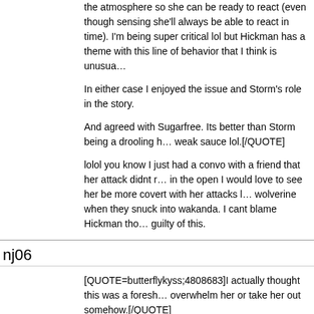the atmosphere so she can be ready to react (even though sensing she'll always be able to react in time). I'm being super critical lol but Hickman has a theme with this line of behavior that I think is unusua…
In either case I enjoyed the issue and Storm's role in the story.
And agreed with Sugarfree. Its better than Storm being a drooling h… weak sauce lol.[/QUOTE]
lolol you know I just had a convo with a friend that her attack didnt r… in the open I would love to see her be more covert with her attacks l… wolverine when they snuck into wakanda. I cant blame Hickman tho… guilty of this.
nj06
[QUOTE=butterflykyss;4808683]I actually thought this was a foresh… overwhelm her or take her out somehow.[/QUOTE]
This is what I was thinking as well.
I hope at some point we get to see Ororo and Bast interact with one… that Storm has transcended to Hadari Yao and has the faith of some… people.
I also want Ororo and N'Jadaka to meet since he too became a G…